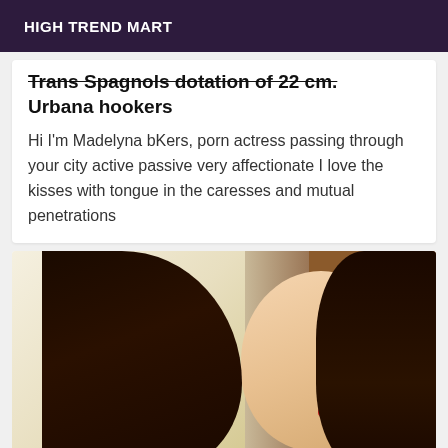HIGH TREND MART
Trans Spagnols dotation of 22 cm. Urbana hookers
Hi I'm Madelyna bKers, porn actress passing through your city active passive very affectionate I love the kisses with tongue in the caresses and mutual penetrations
[Figure (photo): Photo of a woman with long dark hair, blue eyes, and red lips, partially obscuring her face with her hair, against a light wall background]